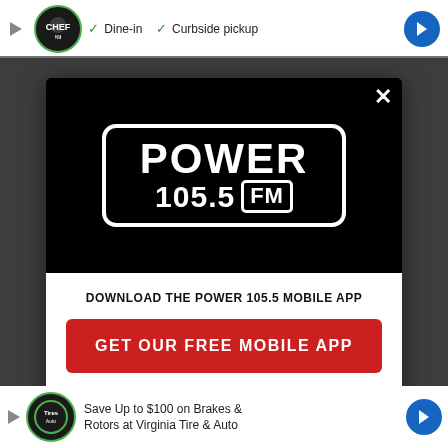[Figure (screenshot): Top advertisement bar showing a restaurant logo with checkmarks for Dine-in and Curbside pickup options, and a blue direction arrow]
[Figure (logo): Power 105.5 FM logo in white text on black background inside a rounded rectangle border]
DOWNLOAD THE POWER 105.5 MOBILE APP
GET OUR FREE MOBILE APP
Also listen on:  amazon alexa
[Figure (screenshot): Bottom advertisement bar: Save Up to $100 on Brakes & Rotors at Virginia Tire & Auto with Midas-style logo and blue direction arrow]